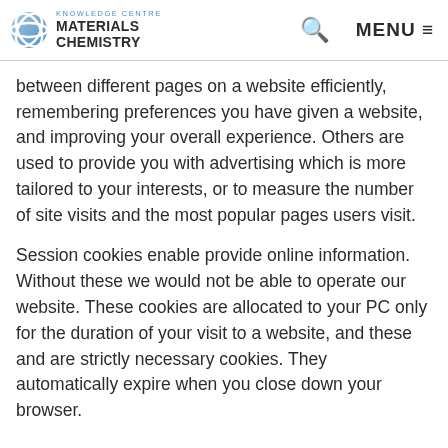KNOWLEDGE CENTRE MATERIALS CHEMISTRY | Search | MENU
between different pages on a website efficiently, remembering preferences you have given a website, and improving your overall experience. Others are used to provide you with advertising which is more tailored to your interests, or to measure the number of site visits and the most popular pages users visit.
Session cookies enable provide online information. Without these we would not be able to operate our website. These cookies are allocated to your PC only for the duration of your visit to a website, and these and are strictly necessary cookies. They automatically expire when you close down your browser.